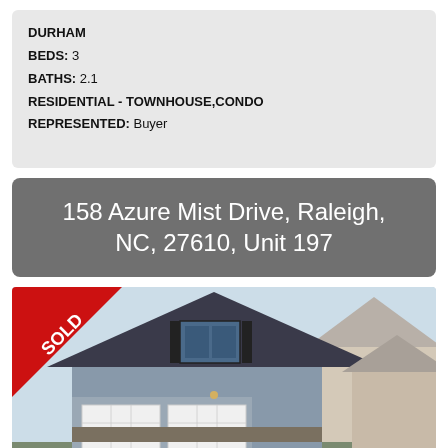DURHAM
BEDS: 3
BATHS: 2.1
RESIDENTIAL - TOWNHOUSE,CONDO
REPRESENTED: Buyer
158 Azure Mist Drive, Raleigh, NC, 27610, Unit 197
[Figure (photo): Exterior photo of a grey craftsman-style house with white garage doors and a SOLD ribbon in the top-left corner]